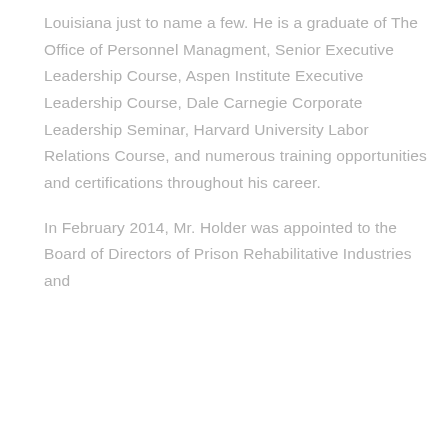Louisiana just to name a few. He is a graduate of The Office of Personnel Managment, Senior Executive Leadership Course, Aspen Institute Executive Leadership Course, Dale Carnegie Corporate Leadership Seminar, Harvard University Labor Relations Course, and numerous training opportunities and certifications throughout his career.
In February 2014, Mr. Holder was appointed to the Board of Directors of Prison Rehabilitative Industries and